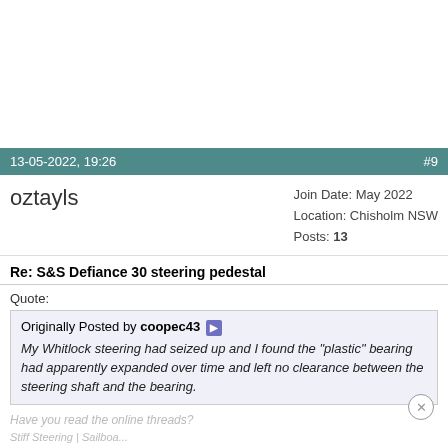13-05-2022, 19:26 #9
oztayls
Join Date: May 2022
Location: Chisholm NSW
Posts: 13
Re: S&S Defiance 30 steering pedestal
Quote:
Originally Posted by coopec43
My Whitlock steering had seized up and I found the "plastic" bearing had apparently expanded over time and left no clearance between the steering shaft and the bearing.
Have you read the online threads?
Stiff Steering | Sailboat Owners Forums